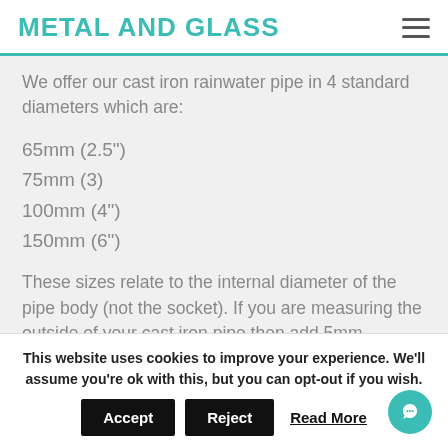METAL AND GLASS
We offer our cast iron rainwater pipe in 4 standard diameters which are:
65mm (2.5")
75mm (3)
100mm (4")
150mm (6")
These sizes relate to the internal diameter of the pipe body (not the socket).  If you are measuring the outside of your cast iron pipe then add 5mm
This website uses cookies to improve your experience. We'll assume you're ok with this, but you can opt-out if you wish.